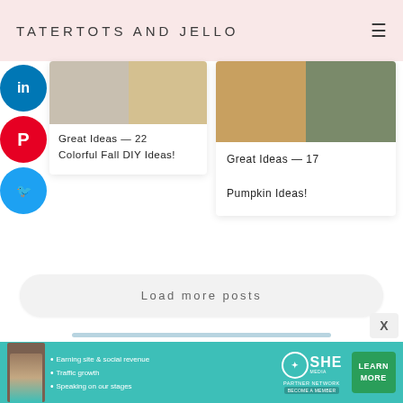TATERTOTS AND JELLO
[Figure (screenshot): Social sharing buttons: LinkedIn (blue), Pinterest (red), Twitter (blue)]
Great Ideas — 22 Colorful Fall DIY Ideas!
[Figure (photo): Collage of fall/pumpkin themed images]
Great Ideas — 17 Pumpkin Ideas!
Load more posts
[Figure (infographic): SHE Partner Network advertisement banner: Earning site & social revenue, Traffic growth, Speaking on our stages. LEARN MORE button.]